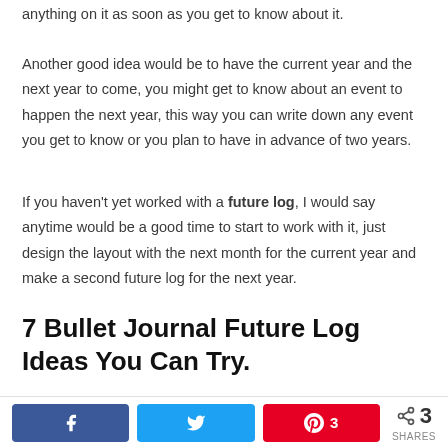anything on it as soon as you get to know about it.
Another good idea would be to have the current year and the next year to come, you might get to know about an event to happen the next year, this way you can write down any event you get to know or you plan to have in advance of two years.
If you haven't yet worked with a future log, I would say anytime would be a good time to start to work with it, just design the layout with the next month for the current year and make a second future log for the next year.
7 Bullet Journal Future Log Ideas You Can Try.
1 – Minimalist.